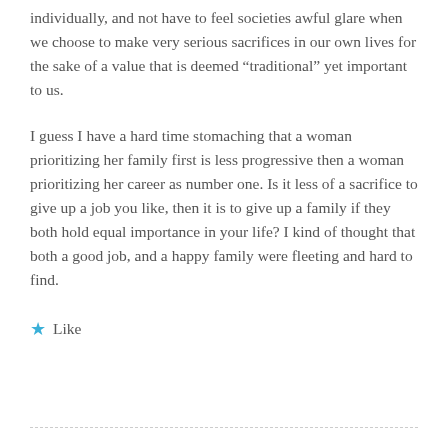individually, and not have to feel societies awful glare when we choose to make very serious sacrifices in our own lives for the sake of a value that is deemed “traditional” yet important to us.
I guess I have a hard time stomaching that a woman prioritizing her family first is less progressive then a woman prioritizing her career as number one. Is it less of a sacrifice to give up a job you like, then it is to give up a family if they both hold equal importance in your life? I kind of thought that both a good job, and a happy family were fleeting and hard to find.
★ Like